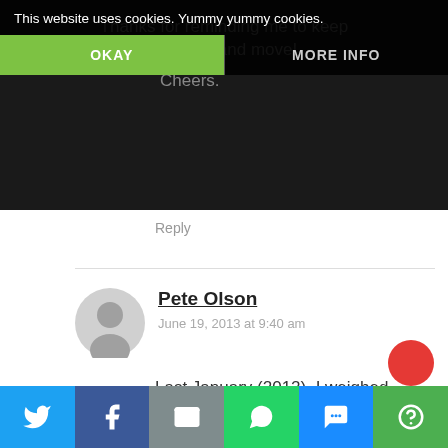[Figure (screenshot): Cookie consent banner overlay with dark background showing 'This website uses cookies. Yummy yummy cookies.' text, OKAY button in green, MORE INFO button in dark]
Thanks for reminding me to keep it simple and move!
Cheers.
Reply
Pete Olson
June 19, 2013 at 9:40 am
Last January (2012), I weighed 275.6 pounds and started the South Beach Diet. Last Summer, I had dropped to 243 pounds and started running again for the first time in 25 years.
[Figure (infographic): Social sharing bar at bottom with Twitter, Facebook, Email, WhatsApp, SMS, and More icons]